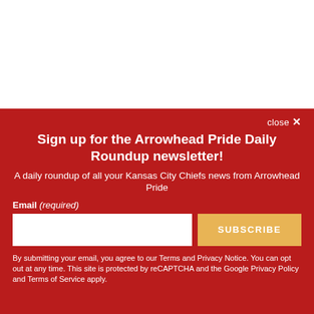Sign up for the Arrowhead Pride Daily Roundup newsletter!
A daily roundup of all your Kansas City Chiefs news from Arrowhead Pride
Email (required)
SUBSCRIBE
By submitting your email, you agree to our Terms and Privacy Notice. You can opt out at any time. This site is protected by reCAPTCHA and the Google Privacy Policy and Terms of Service apply.